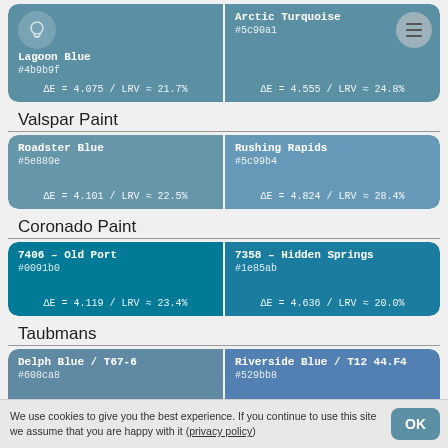[Figure (other): Color match card for Lagoon Blue (#4b9b9f) and Arctic Turquoise (#5c90a1) with delta E and LRV values]
Valspar Paint
[Figure (other): Color match card for Roadster Blue (#5e889e) and Rushing Rapids (#5c99b4)]
Coronado Paint
[Figure (other): Color match card for 7406 - Old Port (#0091b0) and 7358 - Hidden Springs (#1e85ab)]
Taubmans
[Figure (other): Color match card for Delph Blue / T67-6 (#608ca8) and Riverside Blue / T12 44.F4 (#529bb8)]
We use cookies to give you the best experience. If you continue to use this site we assume that you are happy with it (privacy policy)